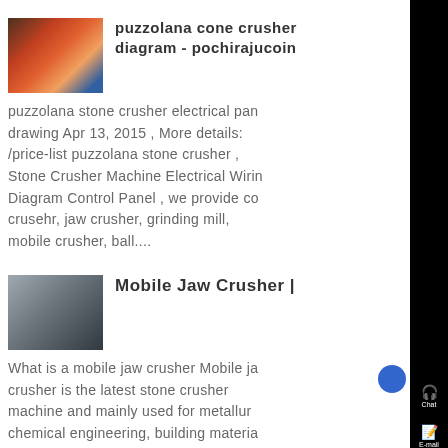[Figure (photo): Thumbnail image of puzzolana cone crusher machinery with orange/red industrial equipment]
puzzolana cone crusher diagram - pochirajucoin
puzzolana stone crusher electrical pan drawing Apr 13, 2015 , More details: /price-list puzzolana stone crusher , Stone Crusher Machine Electrical Wiring Diagram Control Panel , we provide co crusehr, jaw crusher, grinding mill, mobile crusher, ball....
[Figure (photo): Thumbnail image of a mobile jaw crusher machine, gray industrial equipment on wheels]
Mobile Jaw Crusher |
What is a mobile jaw crusher Mobile ja crusher is the latest stone crusher machine and mainly used for metallur chemical engineering, building materia